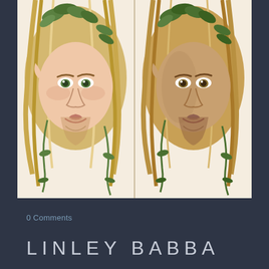[Figure (illustration): Two illustrated fantasy elf-like male face portraits side by side, both with long wavy blonde hair adorned with green leaves and vines, pointed ears, beards. Left portrait has lighter pink-toned coloring; right portrait has darker warm-toned coloring. Both faces are rendered in a detailed colored pencil illustration style on light beige background.]
0 Comments
LINLEY BABBA